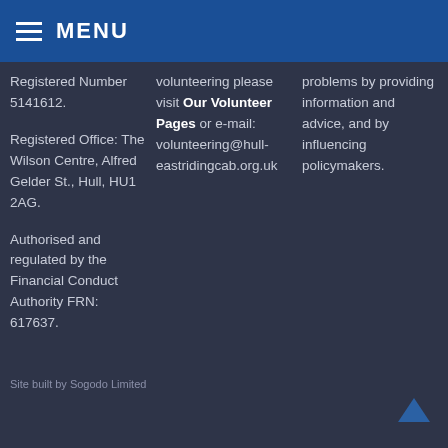MENU
Registered Number 5141612.

Registered Office: The Wilson Centre, Alfred Gelder St., Hull, HU1 2AG.

Authorised and regulated by the Financial Conduct Authority FRN: 617637.
volunteering please visit Our Volunteer Pages or e-mail: volunteering@hull-eastridingcab.org.uk
problems by providing information and advice, and by influencing policymakers.
Site built by Sogodo Limited